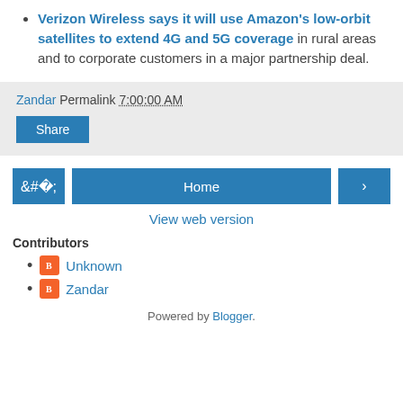Verizon Wireless says it will use Amazon's low-orbit satellites to extend 4G and 5G coverage in rural areas and to corporate customers in a major partnership deal.
Zandar Permalink 7:00:00 AM
Share
< Home >
View web version
Contributors
Unknown
Zandar
Powered by Blogger.